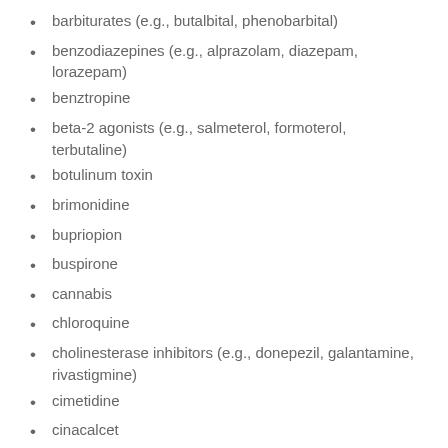barbiturates (e.g., butalbital, phenobarbital)
benzodiazepines (e.g., alprazolam, diazepam, lorazepam)
benztropine
beta-2 agonists (e.g., salmeterol, formoterol, terbutaline)
botulinum toxin
brimonidine
bupriopion
buspirone
cannabis
chloroquine
cholinesterase inhibitors (e.g., donepezil, galantamine, rivastigmine)
cimetidine
cinacalcet
ciprofloxacin